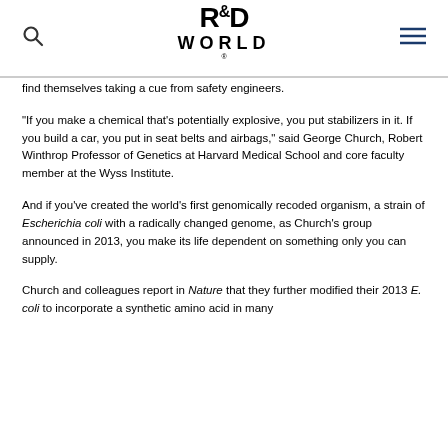R&D WORLD
find themselves taking a cue from safety engineers.
“If you make a chemical that’s potentially explosive, you put stabilizers in it. If you build a car, you put in seat belts and airbags,” said George Church, Robert Winthrop Professor of Genetics at Harvard Medical School and core faculty member at the Wyss Institute.
And if you’ve created the world’s first genomically recoded organism, a strain of Escherichia coli with a radically changed genome, as Church’s group announced in 2013, you make its life dependent on something only you can supply.
Church and colleagues report in Nature that they further modified their 2013 E. coli to incorporate a synthetic amino acid in many